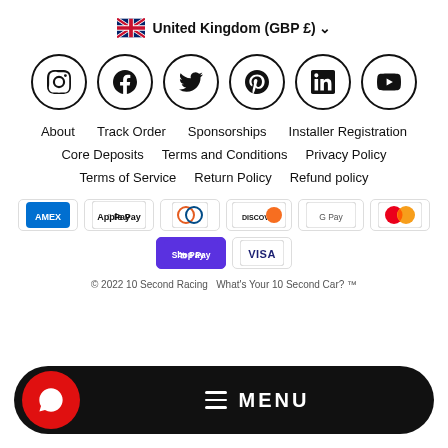United Kingdom (GBP £) ▾
[Figure (infographic): Row of 6 social media icons in circles: Instagram, Facebook, Twitter, Pinterest, LinkedIn, YouTube]
About
Track Order
Sponsorships
Installer Registration
Core Deposits
Terms and Conditions
Privacy Policy
Terms of Service
Return Policy
Refund policy
[Figure (infographic): Payment method icons: AMEX, Apple Pay, Diners Club, Discover, Google Pay, Mastercard, Shop Pay, Visa]
© 2022 10 Second Racing   What's Your 10 Second Car? ™
[Figure (infographic): Black rounded bar with red chat bubble icon on left and MENU text with hamburger lines in center]